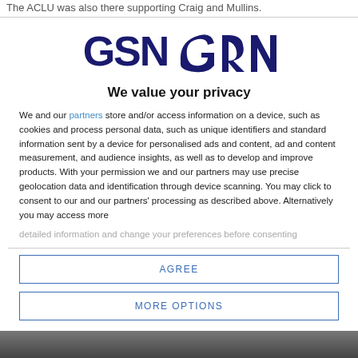The ACLU was also there supporting Craig and Mullins.
[Figure (logo): GSN logo in dark navy blue stylized letters]
We value your privacy
We and our partners store and/or access information on a device, such as cookies and process personal data, such as unique identifiers and standard information sent by a device for personalised ads and content, ad and content measurement, and audience insights, as well as to develop and improve products. With your permission we and our partners may use precise geolocation data and identification through device scanning. You may click to consent to our and our partners' processing as described above. Alternatively you may access more detailed information and change your preferences before consenting
AGREE
MORE OPTIONS